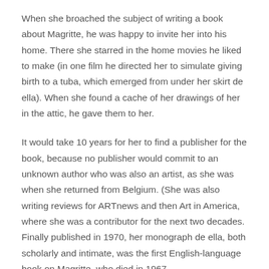When she broached the subject of writing a book about Magritte, he was happy to invite her into his home. There she starred in the home movies he liked to make (in one film he directed her to simulate giving birth to a tuba, which emerged from under her skirt de ella). When she found a cache of her drawings of her in the attic, he gave them to her.
It would take 10 years for her to find a publisher for the book, because no publisher would commit to an unknown author who was also an artist, as she was when she returned from Belgium. (She was also writing reviews for ARTnews and then Art in America, where she was a contributor for the next two decades. Finally published in 1970, her monograph de ella, both scholarly and intimate, was the first English-language book on Magritte, who died in 1967..
“Suzi was a true bohemian who seemed to value her friendships